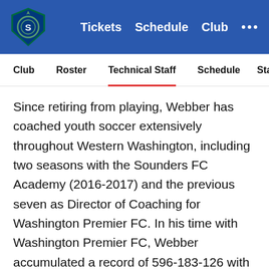Tickets  Schedule  Club  ...
Club  Roster  Technical Staff  Schedule  Standings
Since retiring from playing, Webber has coached youth soccer extensively throughout Western Washington, including two seasons with the Sounders FC Academy (2016-2017) and the previous seven as Director of Coaching for Washington Premier FC. In his time with Washington Premier FC, Webber accumulated a record of 596-183-126 with four state championships and two regional titles. His prior coaching stops included Norpoint FC (1999-2003), Federal Way Reign (2003-2005) and FC Royals (2005-2006). He joined the Washington State